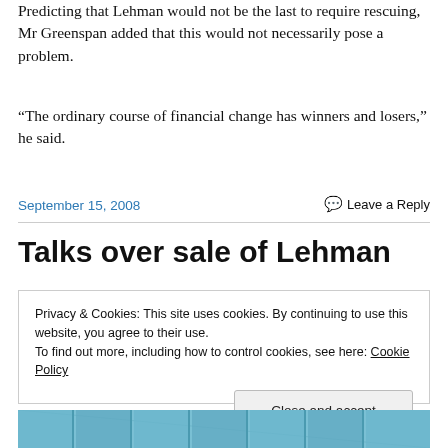Predicting that Lehman would not be the last to require rescuing, Mr Greenspan added that this would not necessarily pose a problem.
“The ordinary course of financial change has winners and losers,” he said.
September 15, 2008
Leave a Reply
Talks over sale of Lehman
Privacy & Cookies: This site uses cookies. By continuing to use this website, you agree to their use.
To find out more, including how to control cookies, see here: Cookie Policy
[Figure (photo): Bottom strip showing a photo of a building with blue tinted glass windows, partially visible]